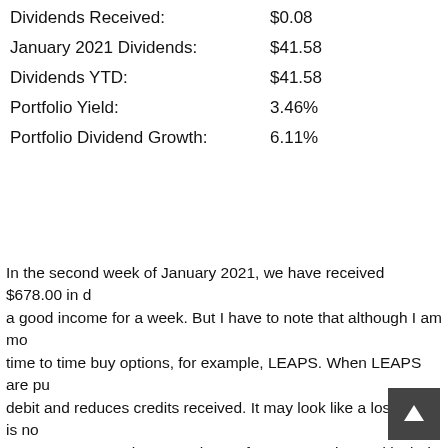Dividends Received: $0.08
January 2021 Dividends: $41.58
Dividends YTD: $41.58
Portfolio Yield: 3.46%
Portfolio Dividend Growth: 6.11%
In the second week of January 2021, we have received $678.00 in dividends, a good income for a week. But I have to note that although I am most of the time to time buy options, for example, LEAPS. When LEAPS are purchased it is a debit and reduces credits received. It may look like a loss but it is not. I always ways to separate these purchases from accounting and include them when closed. Since I use data downloaded from my trading account and do not need to figure out how to do it automatically. Doing this manually wo...